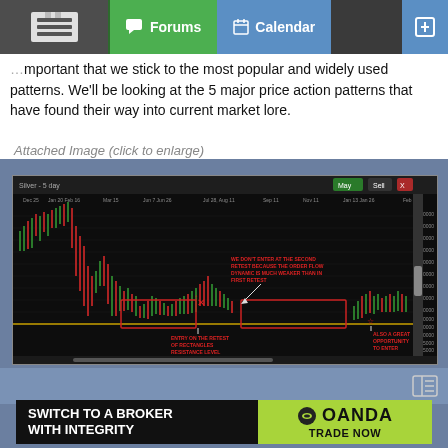Forums | Calendar
important that we stick to the most popular and widely used patterns. We'll be looking at the 5 major price action patterns that have found their way into current market lore.
Attached Image (click to enlarge)
[Figure (screenshot): Trading chart screenshot showing price action with red rectangles marking retest zones, annotation text: WE DON'T ENTER AT THE SECOND RETEST BECAUSE THE ORDER FLOW DYNAMIC IS MUCH WEAKER THAN IN FIRST RETEST, ENTRY ON THE RETEST OF RECTANGLES RESISTANCE LEVEL, ALSO A GREAT OPPORTUNITY TO ENTER]
[Figure (logo): OANDA advertisement banner: SWITCH TO A BROKER WITH INTEGRITY | OANDA TRADE NOW]